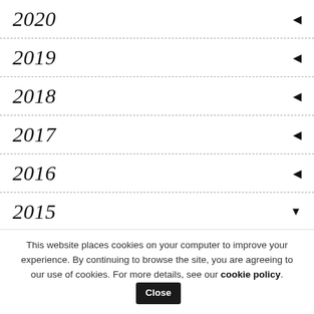2020 ◀
2019 ◀
2018 ◀
2017 ◀
2016 ◀
2015 ▼
This website places cookies on your computer to improve your experience. By continuing to browse the site, you are agreeing to our use of cookies. For more details, see our cookie policy. Close